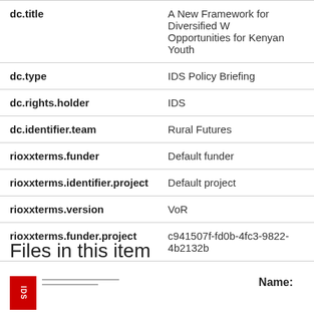| Field | Value |
| --- | --- |
| dc.title | A New Framework for Diversified Work Opportunities for Kenyan Youth |
| dc.type | IDS Policy Briefing |
| dc.rights.holder | IDS |
| dc.identifier.team | Rural Futures |
| rioxxterms.funder | Default funder |
| rioxxterms.identifier.project | Default project |
| rioxxterms.version | VoR |
| rioxxterms.funder.project | c941507f-fd0b-4fc3-9822-4b2132b... |
Files in this item
[Figure (other): Thumbnail of a PDF document with red cover and dashed lines indicating file preview]
Name: